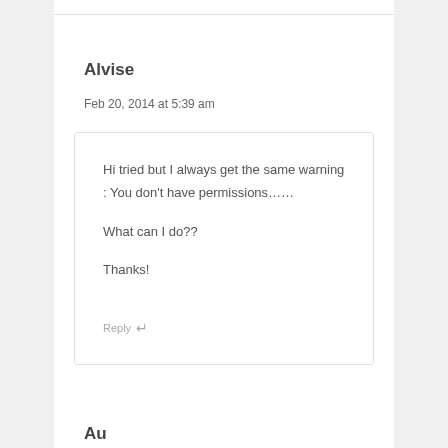Alvise
Feb 20, 2014 at 5:39 am
Hi tried but I always get the same warning : You don't have permissions……

What can I do??

Thanks!
Reply